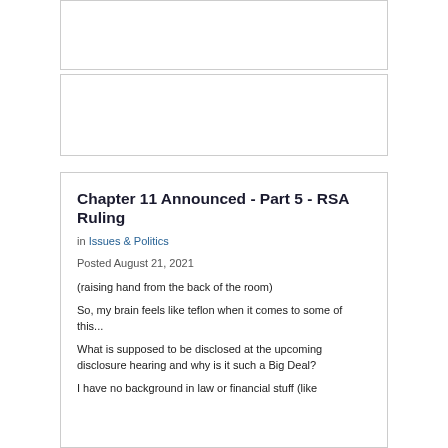Chapter 11 Announced - Part 5 - RSA Ruling
in Issues & Politics
Posted August 21, 2021
(raising hand from the back of the room)
So, my brain feels like teflon when it comes to some of this...
What is supposed to be disclosed at the upcoming disclosure hearing and why is it such a Big Deal?
I have no background in law or financial stuff (like